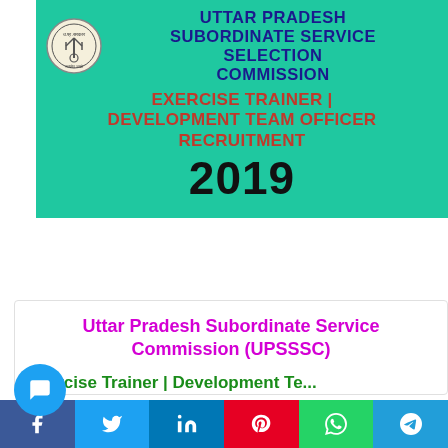[Figure (infographic): UPSSSC banner with teal background, circular emblem logo on left, title 'Uttar Pradesh Subordinate Service Selection Commission' in navy blue, subtitle 'Exercise Trainer | Development Team Officer Recruitment' in dark red, and year '2019' in black]
[Figure (infographic): Row of social share buttons: Facebook (blue), Twitter (light blue), LinkedIn (blue), Pinterest (red), WhatsApp (green), Telegram (blue), Email (dark gray)]
Uttar Pradesh Subordinate Service Commission (UPSSSC)
Exercise Trainer | Development Te...
[Figure (infographic): Bottom share bar with Facebook, Twitter, LinkedIn, Pinterest, WhatsApp, Telegram buttons and a chat bubble icon]